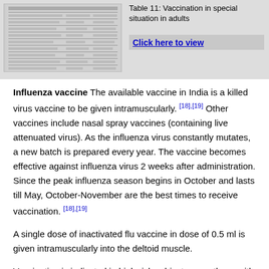[Figure (table-as-image): Thumbnail image of Table 11: Vaccination in special situation in adults]
Table 11: Vaccination in special situation in adults
Click here to view
Influenza vaccine The available vaccine in India is a killed virus vaccine to be given intramuscularly. [18],[19] Other vaccines include nasal spray vaccines (containing live attenuated virus). As the influenza virus constantly mutates, a new batch is prepared every year. The vaccine becomes effective against influenza virus 2 weeks after administration. Since the peak influenza season begins in October and lasts till May, October-November are the best times to receive vaccination. [18],[19]
A single dose of inactivated flu vaccine in dose of 0.5 ml is given intramuscularly into the deltoid muscle.
Vaccination is indicated in high-risk subjects, e.g., those with COPD, CKD, cardiac or lung diseases, hepatic, metabolic diseases (diabetes), hematological diseases, pregnancy, nursing homes, health care personnel, household contacts of children <5 years or adults >50 years, diseases which impair respiratory